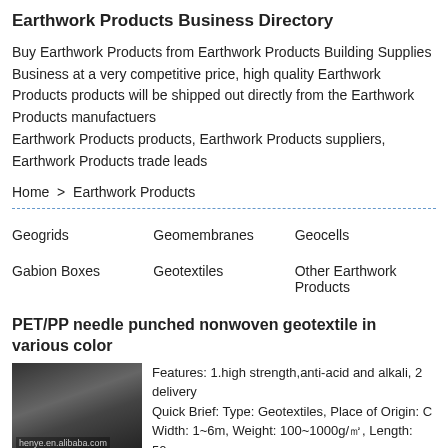Earthwork Products Business Directory
Buy Earthwork Products from Earthwork Products Building Supplies Business at a very competitive price, high quality Earthwork Products products will be shipped out directly from the Earthwork Products manufactuers
Earthwork Products products, Earthwork Products suppliers, Earthwork Products trade leads
Home  >  Earthwork Products
Geogrids
Geomembranes
Geocells
Gabion Boxes
Geotextiles
Other Earthwork Products
PET/PP needle punched nonwoven geotextile in various color
[Figure (photo): Photo of dark nonwoven geotextile fabric with alibaba.com watermark]
Features: 1.high strength,anti-acid and alkali, 2 delivery
Quick Brief: Type: Geotextiles, Place of Origin: C Width: 1~6m, Weight: 100~1000g/㎡, Length: 50~